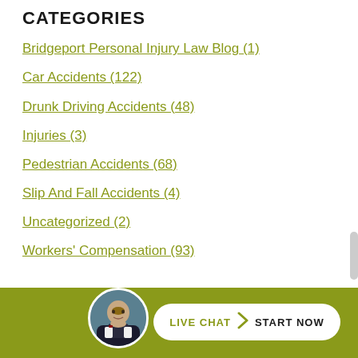CATEGORIES
Bridgeport Personal Injury Law Blog (1)
Car Accidents (122)
Drunk Driving Accidents (48)
Injuries (3)
Pedestrian Accidents (68)
Slip And Fall Accidents (4)
Uncategorized (2)
Workers' Compensation (93)
[Figure (infographic): Live chat button with attorney avatar. Green bar with white rounded button reading 'LIVE CHAT > START NOW'.]